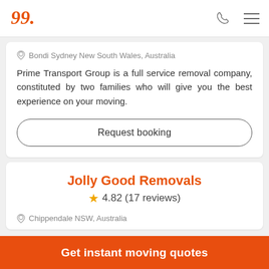Logo header with phone and menu icons
Bondi Sydney New South Wales, Australia
Prime Transport Group is a full service removal company, constituted by two families who will give you the best experience on your moving.
Request booking
Jolly Good Removals
4.82 (17 reviews)
Chippendale NSW, Australia
Get instant moving quotes